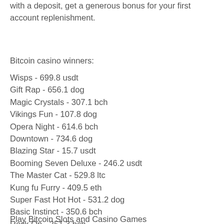with a deposit, get a generous bonus for your first account replenishment.
Bitcoin casino winners:
Wisps - 699.8 usdt
Gift Rap - 656.1 dog
Magic Crystals - 307.1 bch
Vikings Fun - 107.8 dog
Opera Night - 614.6 bch
Downtown - 734.6 dog
Blazing Star - 15.7 usdt
Booming Seven Deluxe - 246.2 usdt
The Master Cat - 529.8 ltc
Kung fu Furry - 409.5 eth
Super Fast Hot Hot - 531.2 dog
Basic Instinct - 350.6 bch
Rock On - 251.3 bch
Surf Paradise - 287.9 eth
Tycoons - 86.4 btc
Play Bitcoin Slots and Casino Games